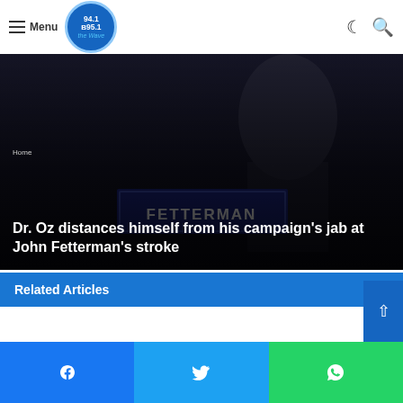Menu | 94.1 B95.1 The Wave
[Figure (photo): Dark background photo showing a Fetterman campaign sign/podium. Overlaid white bold text reads: 'Dr. Oz distances himself from his campaign's jab at John Fetterman's stroke'. Breadcrumb text above.]
Dr. Oz distances himself from his campaign's jab at John Fetterman's stroke
Related Articles
Facebook share | Twitter share | WhatsApp share